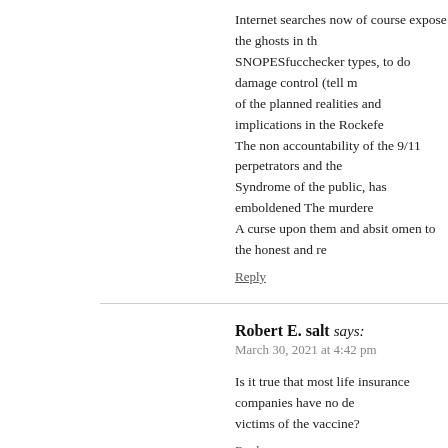Internet searches now of course expose the ghosts in th... SNOPESfucchecker types, to do damage control (tell m... of the planned realities and implications in the Rockefe... The non accountability of the 9/11 perpetrators and the... Syndrome of the public, has emboldened The murderer... A curse upon them and absit omen to the honest and re...
Reply
Robert E. salt says:
March 30, 2021 at 4:42 pm
Is it true that most life insurance companies have no de... victims of the vaccine?
Reply
s. briskey says:
April 5, 2021 at 5:22 pm